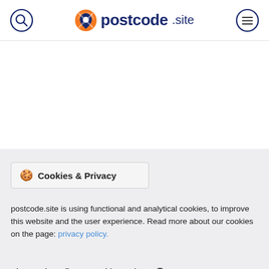postcode.site — navigation header with search and menu icons
🍪 Cookies & Privacy
postcode.site is using functional and analytical cookies, to improve this website and the user experience. Read more about our cookies on the page: privacy policy.
View and configure cookie settings ℹ
accept